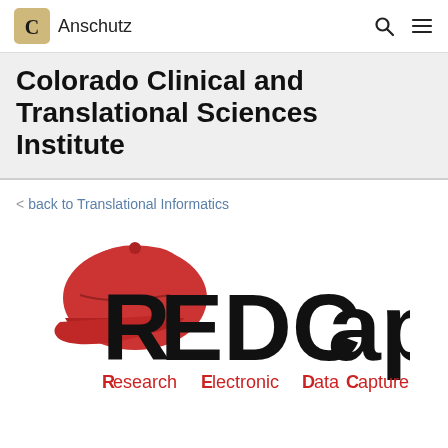CU Anschutz
Colorado Clinical and Translational Sciences Institute
< back to Translational Informatics
[Figure (logo): REDCap logo — red baseball cap icon above the word REDCap in large bold black text, with subtitle 'Research Electronic Data Capture' in red and black below]